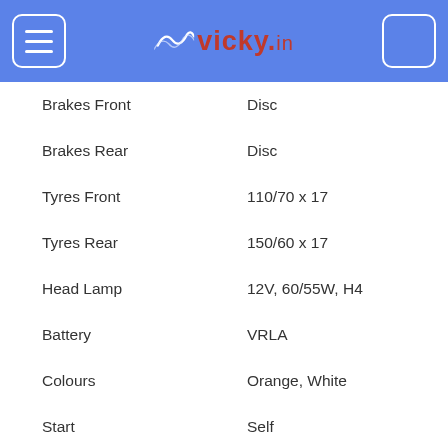vicky.in
| Specification | Value |
| --- | --- |
| Brakes Front | Disc |
| Brakes Rear | Disc |
| Tyres Front | 110/70 x 17 |
| Tyres Rear | 150/60 x 17 |
| Head Lamp | 12V, 60/55W, H4 |
| Battery | VRLA |
| Colours | Orange, White |
| Start | Self |
| Horn | Dual |